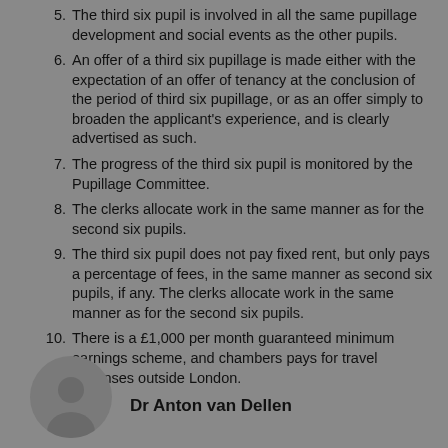5. The third six pupil is involved in all the same pupillage development and social events as the other pupils.
6. An offer of a third six pupillage is made either with the expectation of an offer of tenancy at the conclusion of the period of third six pupillage, or as an offer simply to broaden the applicant's experience, and is clearly advertised as such.
7. The progress of the third six pupil is monitored by the Pupillage Committee.
8. The clerks allocate work in the same manner as for the second six pupils.
9. The third six pupil does not pay fixed rent, but only pays a percentage of fees, in the same manner as second six pupils, if any. The clerks allocate work in the same manner as for the second six pupils.
10. There is a £1,000 per month guaranteed minimum earnings scheme, and chambers pays for travel expenses outside London.
[Figure (photo): Circular portrait photo of Dr Anton van Dellen]
Dr Anton van Dellen